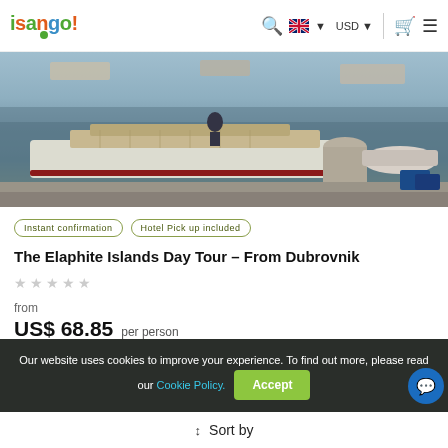isango! — navigation with search, language (USD), cart, and menu icons
[Figure (photo): Harbour scene with white fishing boats moored at a dock, calm water reflections, and a large stone bollard in the foreground]
Instant confirmation
Hotel Pick up included
The Elaphite Islands Day Tour – From Dubrovnik
★★★★★ (empty stars rating)
from
US$ 68.85 per person
Our website uses cookies to improve your experience. To find out more, please read our Cookie Policy. Accept
Sort by